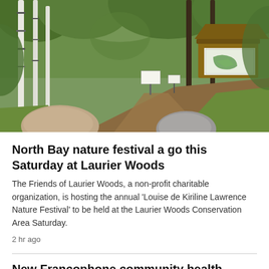[Figure (photo): A forest trail leading into green woods with birch trees on the left, informational signs and a wooden kiosk/bulletin board structure on the right, with two large rocks in the foreground on a dirt path — entrance to Laurier Woods Conservation Area.]
North Bay nature festival a go this Saturday at Laurier Woods
The Friends of Laurier Woods, a non-profit charitable organization, is hosting the annual 'Louise de Kiriline Lawrence Nature Festival' to be held at the Laurier Woods Conservation Area Saturday.
2 hr ago
New Francophone community health centre will